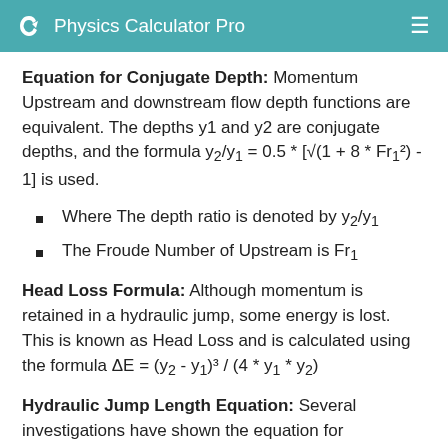Physics Calculator Pro
Equation for Conjugate Depth: Momentum Upstream and downstream flow depth functions are equivalent. The depths y1 and y2 are conjugate depths, and the formula y2/y1 = 0.5 * [√(1 + 8 * Fr1²) - 1] is used.
Where The depth ratio is denoted by y2/y1
The Froude Number of Upstream is Fr1
Head Loss Formula: Although momentum is retained in a hydraulic jump, some energy is lost. This is known as Head Loss and is calculated using the formula ΔE = (y2 - y1)³ / (4 * y1 * y2)
Hydraulic Jump Length Equation: Several investigations have shown the equation for